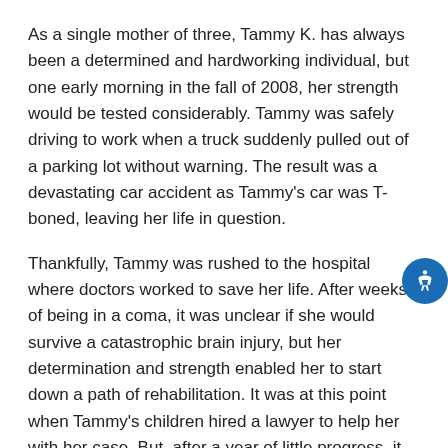As a single mother of three, Tammy K. has always been a determined and hardworking individual, but one early morning in the fall of 2008, her strength would be tested considerably. Tammy was safely driving to work when a truck suddenly pulled out of a parking lot without warning. The result was a devastating car accident as Tammy's car was T-boned, leaving her life in question.
Thankfully, Tammy was rushed to the hospital where doctors worked to save her life. After weeks of being in a coma, it was unclear if she would survive a catastrophic brain injury, but her determination and strength enabled her to start down a path of rehabilitation. It was at this point when Tammy's children hired a lawyer to help her with her case. But, after a year of little progress, it became clear that she needed more experienced representation.
Tammy needed legal help to ensure her family's future and she wasn't happy with her current lawyer. So instead of accepting what her current lawyer was providing, she did her own research and contacted a firm of the Personal Injury Alliance™.
The law firm of the Personal Injury Alliance replaced her entire